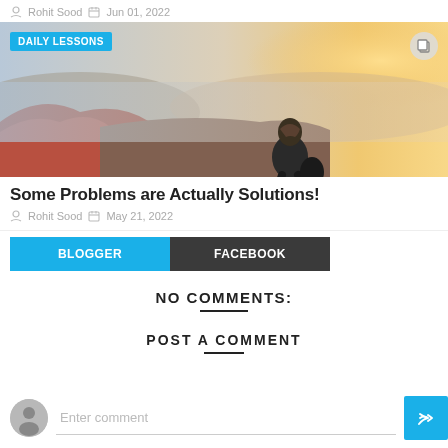Rohit Sood   Jun 01, 2022
[Figure (photo): Person sitting on a mountain viewpoint with a scenic landscape and warm sunset light in the background. A 'DAILY LESSONS' badge is shown in the top-left corner.]
Some Problems are Actually Solutions!
Rohit Sood   May 21, 2022
BLOGGER   FACEBOOK
NO COMMENTS:
POST A COMMENT
Enter comment